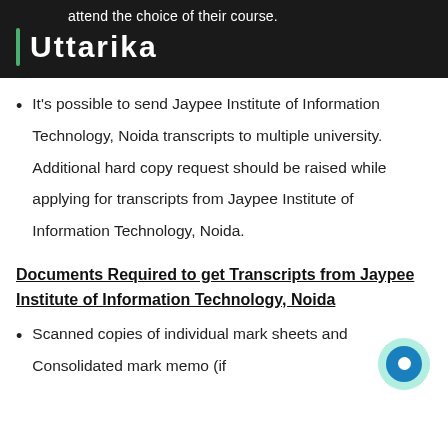attend the choice of their course.
Uttarika
It's possible to send Jaypee Institute of Information Technology, Noida transcripts to multiple university. Additional hard copy request should be raised while applying for transcripts from Jaypee Institute of Information Technology, Noida.
Documents Required to get Transcripts from Jaypee Institute of Information Technology, Noida
Scanned copies of individual mark sheets and Consolidated mark memo (if